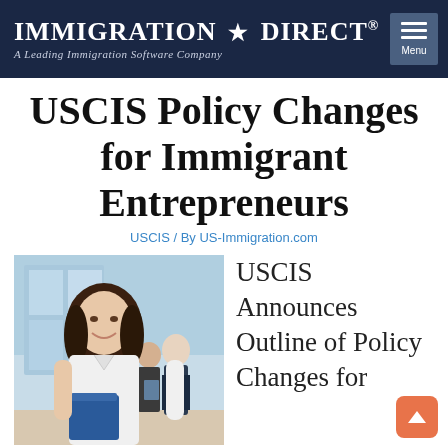IMMIGRATION ★ DIRECT® — A Leading Immigration Software Company
USCIS Policy Changes for Immigrant Entrepreneurs
USCIS / By US-Immigration.com
[Figure (photo): A professional woman holding a blue folder in the foreground, with two business people talking in the background near a glass building.]
USCIS Announces Outline of Policy Changes for
Immigrant Entrepreneurs